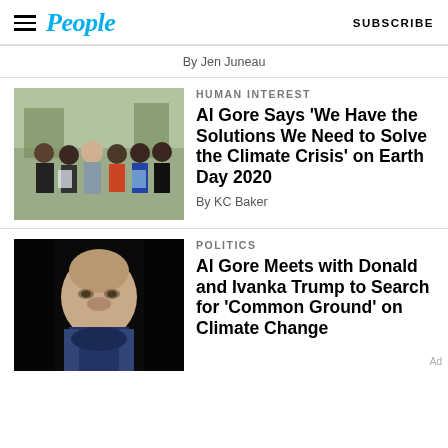People — SUBSCRIBE
By Jen Juneau
[Figure (photo): Group photo of Al Gore with several young climate activists outdoors]
HUMAN INTEREST
Al Gore Says ‘We Have the Solutions We Need to Solve the Climate Crisis’ on Earth Day 2020
By KC Baker
[Figure (photo): Portrait photo of Al Gore against dark background]
POLITICS
Al Gore Meets with Donald and Ivanka Trump to Search for ‘Common Ground’ on Climate Change